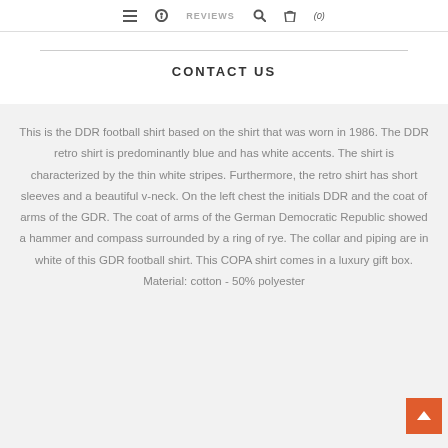REVIEWS (0)
CONTACT US
This is the DDR football shirt based on the shirt that was worn in 1986. The DDR retro shirt is predominantly blue and has white accents. The shirt is characterized by the thin white stripes. Furthermore, the retro shirt has short sleeves and a beautiful v-neck. On the left chest the initials DDR and the coat of arms of the GDR. The coat of arms of the German Democratic Republic showed a hammer and compass surrounded by a ring of rye. The collar and piping are in white of this GDR football shirt. This COPA shirt comes in a luxury gift box. Material: cotton - 50% polyester